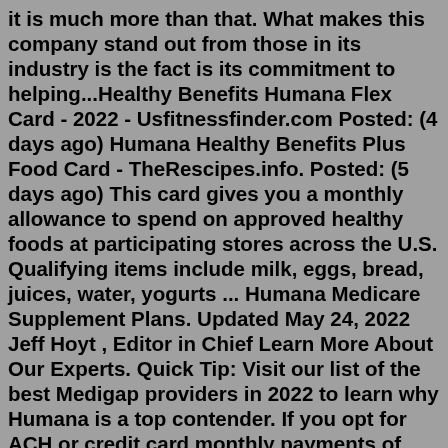it is much more than that. What makes this company stand out from those in its industry is the fact is its commitment to helping...Healthy Benefits Humana Flex Card - 2022 - Usfitnessfinder.com Posted: (4 days ago) Humana Healthy Benefits Plus Food Card - TheRescipes.info. Posted: (5 days ago) This card gives you a monthly allowance to spend on approved healthy foods at participating stores across the U.S. Qualifying items include milk, eggs, bread, juices, water, yogurts ... Humana Medicare Supplement Plans. Updated May 24, 2022 Jeff Hoyt , Editor in Chief Learn More About Our Experts. Quick Tip: Visit our list of the best Medigap providers in 2022 to learn why Humana is a top contender. If you opt for ACH or credit card monthly payments of future premiums...Activate your card. Go to www.ActivateS3.com or call 1-833-832-7306 (TTY 711) to get your card ready to go. Go to a participating store. Search for participating stores near you . Choose healthy items like fruits, veggies, fish, meat, and more. Pay with your Health Food...